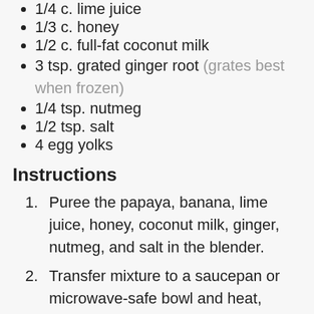1/4 c. lime juice
1/3 c. honey
1/2 c. full-fat coconut milk
3 tsp. grated ginger root (grates best when frozen)
1/4 tsp. nutmeg
1/2 tsp. salt
4 egg yolks
Instructions
Puree the papaya, banana, lime juice, honey, coconut milk, ginger, nutmeg, and salt in the blender.
Transfer mixture to a saucepan or microwave-safe bowl and heat, stirring frequently, until steamy.